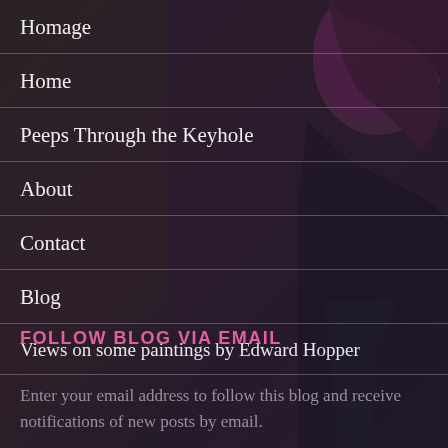Homage
Home
Peeps Through the Keyhole
About
Contact
Blog
Views on some paintings by Edward Hopper
FOLLOW BLOG VIA EMAIL
Enter your email address to follow this blog and receive notifications of new posts by email.